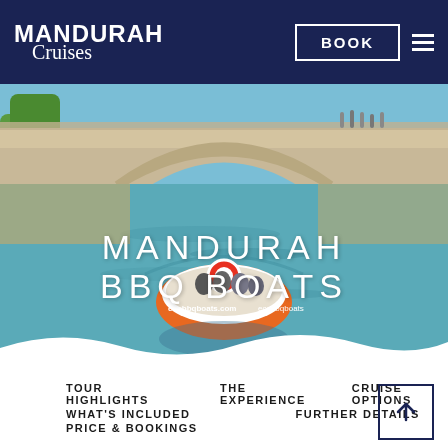MANDURAH Cruises | BOOK
[Figure (photo): Photo of a round BBQ boat with people on board, passing under a stone arch bridge on a canal in Mandurah. The boat is orange and white with 'ecobbqboats.com' branding. The water is calm and blue-green. Overlaid text reads 'MANDURAH BBQ BOATS'.]
MANDURAH BBQ BOATS
TOUR HIGHLIGHTS
THE EXPERIENCE
CRUISE OPTIONS
WHAT'S INCLUDED
FURTHER DETAILS
PRICE & BOOKINGS